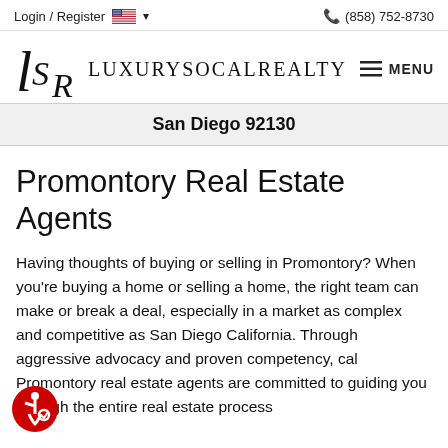Login / Register  🇺🇸 ▾   📞 (858) 752-8730
[Figure (logo): LSR LuxurySoCalRealty logo with stylized L, S, R letters and MENU button]
San Diego 92130
Promontory Real Estate Agents
Having thoughts of buying or selling in Promontory? When you're buying a home or selling a home, the right team can make or break a deal, especially in a market as complex and competitive as San Diego California. Through aggressive advocacy and proven competency, cal Promontory real estate agents are committed to guiding you through the entire real estate process